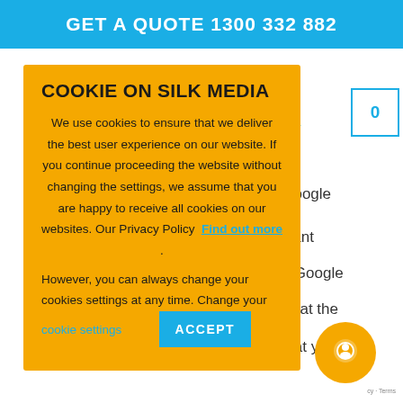GET A QUOTE 1300 332 882
[Figure (screenshot): Partial background webpage content showing 'ow', 'A', 's Google', 'nificant', 's on Google', 'her that the', 'able at your' text fragments and a shopping cart icon with '0']
COOKIE ON SILK MEDIA
We use cookies to ensure that we deliver the best user experience on our website. If you continue proceeding the website without changing the settings, we assume that you are happy to receive all cookies on our websites. Our Privacy Policy  Find out more .
However, you can always change your cookies settings at any time. Change your cookie settings
[Figure (other): Chat support bubble icon in orange/yellow circle at bottom right]